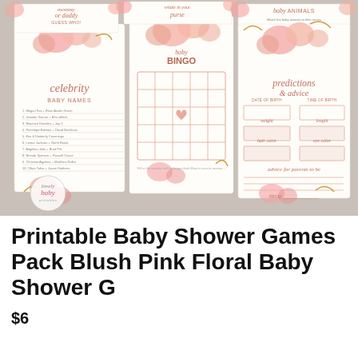[Figure (illustration): Product photo showing a collection of printable baby shower game cards with blush pink floral design. Cards include: mommy or daddy guess who, what's in your purse, baby animals, celebrity baby names, baby bingo (with 5x5 grid and heart center), and predictions & advice. Cards feature pink roses, gold leaves, and eucalyptus decorations. A 'lovely baby printables' logo watermark is visible in the lower left.]
Printable Baby Shower Games Pack Blush Pink Floral Baby Shower G
$6